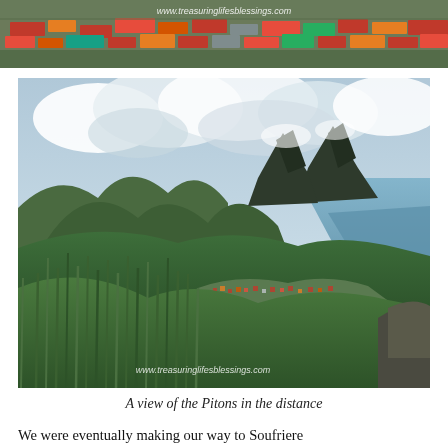[Figure (photo): Aerial or elevated view of a dense settlement with colorful rooftops (red, orange, blue, green corrugated metal) surrounded by lush tropical vegetation. Watermark text 'www.treasuringlifesblessings.com' overlaid in white.]
[Figure (photo): Landscape photograph of the Piton mountains in Saint Lucia rising dramatically above green tropical hillsides and a coastal town below, with the sea visible on the right and cloudy sky above. Lush tall grass and vegetation in the foreground. Watermark 'www.treasuringlifesblessings.com' in lower left.]
A view of the Pitons in the distance
We were eventually making our way to Soufriere